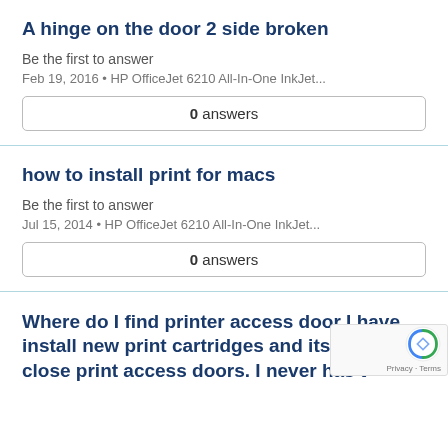A hinge on the door 2 side broken
Be the first to answer
Feb 19, 2016 • HP OfficeJet 6210 All-In-One InkJet...
0 answers
how to install print for macs
Be the first to answer
Jul 15, 2014 • HP OfficeJet 6210 All-In-One InkJet...
0 answers
Where do I find printer access door I have install new print cartridges and its askin to close print access doors. I never has t